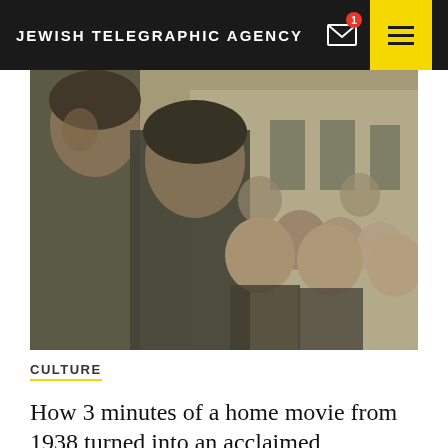JEWISH TELEGRAPHIC AGENCY
[Figure (photo): Historical colorized photograph showing two serious-looking adult men in the foreground and a group of smiling children behind them, standing in front of a building, likely from pre-WWII Eastern Europe.]
CULTURE
How 3 minutes of a home movie from 1938 turned into an acclaimed Holocaust documentary
BY STEPHEN SILVER